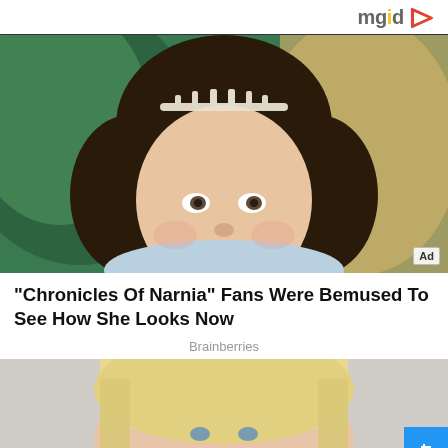mgid
[Figure (photo): Young girl with dark curly hair wearing a tiara/crown, smiling, dressed in light blue. Background is blurred green and gold. Ad badge visible in bottom right corner.]
"Chronicles Of Narnia" Fans Were Bemused To See How She Looks Now
Brainberries
[Figure (photo): Young blonde woman with straight hair, looking directly at camera with neutral expression. Partial view, cropped at bottom of page.]